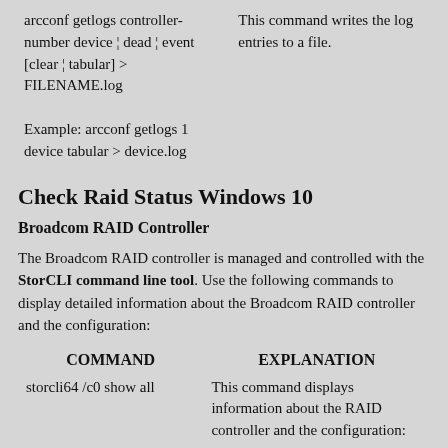| COMMAND | EXPLANATION |
| --- | --- |
| arcconf getlogs controller-number device ¦ dead ¦ event [clear ¦ tabular] > FILENAME.log

Example: arcconf getlogs 1 device tabular > device.log | This command writes the log entries to a file. |
Check Raid Status Windows 10
Broadcom RAID Controller
The Broadcom RAID controller is managed and controlled with the StorCLI command line tool. Use the following commands to display detailed information about the Broadcom RAID controller and the configuration:
| COMMAND | EXPLANATION |
| --- | --- |
| storcli64 /c0 show all | This command displays information about the RAID controller and the configuration: |